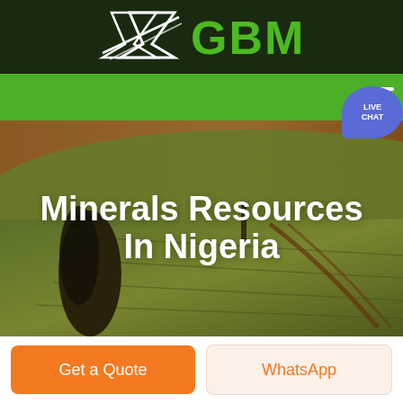[Figure (logo): GBM company logo with stylized arrow/chevron shape on dark green background with white text GBM in large letters]
[Figure (screenshot): Green navigation bar with hamburger menu icon on the right and a purple/blue speech bubble with LIVE CHAT text]
[Figure (photo): Aerial photo of agricultural fields with rolling hills in warm orange and green tones, with a dark rock formation or tree on the left side]
Minerals Resources In Nigeria
Get a Quote
WhatsApp